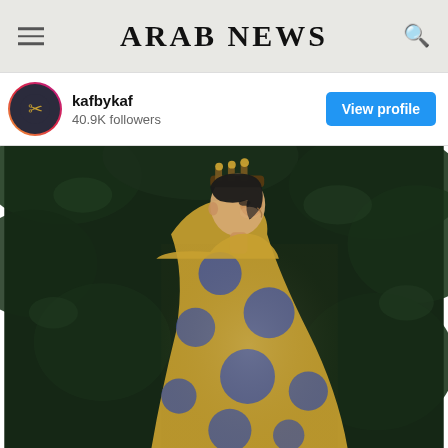ARAB NEWS
kafbykaf
40.9K followers
View profile
[Figure (photo): A model in profile view wearing an ornate floral patterned abaya/dress with large blue circular motifs on a beige/gold fabric, with a decorative crown/headpiece, standing in front of lush dark green foliage.]